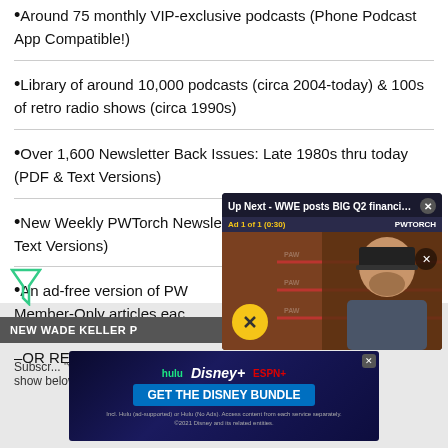Around 75 monthly VIP-exclusive podcasts (Phone Podcast App Compatible!)
Library of around 10,000 podcasts (circa 2004-today) & 100s of retro radio shows (circa 1990s)
Over 1,600 Newsletter Back Issues: Late 1980s thru today (PDF & Text Versions)
New Weekly PWTorch Newsletter w/exclusive articles (PDF & Text Versions)
An ad-free version of PW... Member-Only articles each... –JUMP RIGHT TO EXPRE... –OR READ A DETAILED L...
[Figure (screenshot): Video popup overlay showing 'Up Next - WWE posts BIG Q2 financials ...' with Ad 1 of 1 (0:30), PWTORCH branding, mute button, and person on screen]
NEW WADE KELLER P...
[Figure (screenshot): Disney Bundle advertisement banner with Hulu, Disney+, ESPN+ logos and GET THE DISNEY BUNDLE CTA]
Subscribe... "wade keller" or play show below...